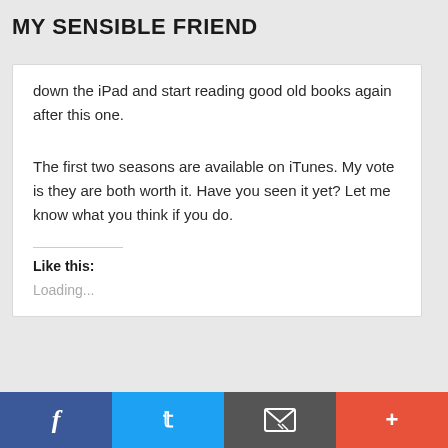MY SENSIBLE FRIEND
down the iPad and start reading good old books again after this one.
The first two seasons are available on iTunes. My vote is they are both worth it. Have you seen it yet? Let me know what you think if you do.
Like this:
Loading...